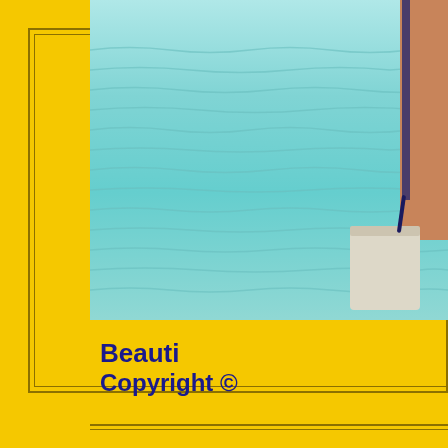[Figure (photo): Partial view of a person near water (turquoise/teal ocean or pool), with a white bag or bucket visible, set against a yellow background with border frame. The photo is cropped showing only the right portion of the scene.]
Beauti
Copyright ©